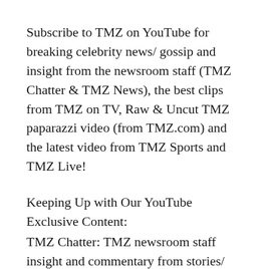Subscribe to TMZ on YouTube for breaking celebrity news/ gossip and insight from the newsroom staff (TMZ Chatter & TMZ News), the best clips from TMZ on TV, Raw & Uncut TMZ paparazzi video (from TMZ.com) and the latest video from TMZ Sports and TMZ Live!
Keeping Up with Our YouTube Exclusive Content:
TMZ Chatter: TMZ newsroom staff insight and commentary from stories/ photos/ videos on TMZ.com
TMZ News: The latest news you need to know from TMZ.com
Raq Rants: Raquel Harper talks to a celebrity